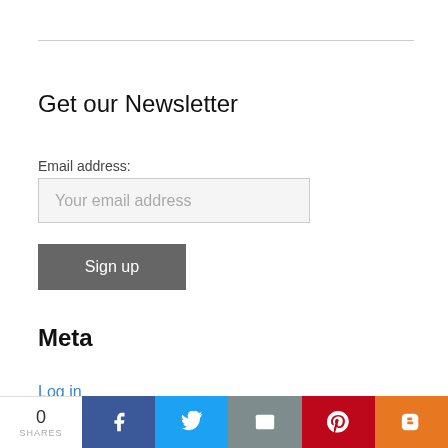Get our Newsletter
Email address:
Your email address
Sign up
Meta
Log in
0 SHARES | Facebook | Twitter | Email | Pinterest | Blogger